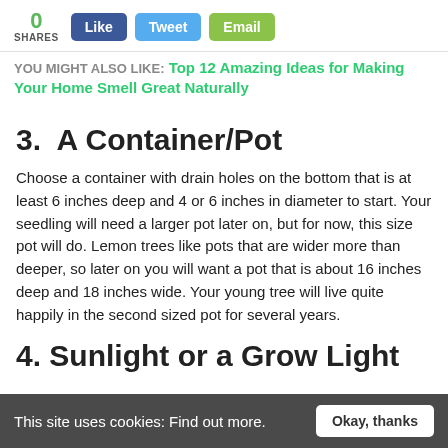0 SHARES  Like  Tweet  Email
YOU MIGHT ALSO LIKE: Top 12 Amazing Ideas for Making Your Home Smell Great Naturally
3.  A Container/Pot
Choose a container with drain holes on the bottom that is at least 6 inches deep and 4 or 6 inches in diameter to start. Your seedling will need a larger pot later on, but for now, this size pot will do. Lemon trees like pots that are wider more than deeper, so later on you will want a pot that is about 16 inches deep and 18 inches wide. Your young tree will live quite happily in the second sized pot for several years.
4. Sunlight or a Grow Light
This site uses cookies: Find out more.  Okay, thanks